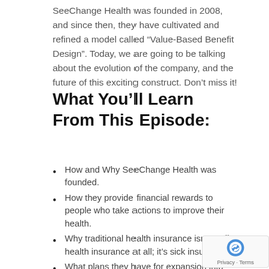SeeChange Health was founded in 2008, and since then, they have cultivated and refined a model called “Value-Based Benefit Design”. Today, we are going to be talking about the evolution of the company, and the future of this exciting construct. Don’t miss it!
What You’ll Learn From This Episode:
How and Why SeeChange Health was founded.
How they provide financial rewards to people who take actions to improve their health.
Why traditional health insurance isn’t really health insurance at all; it’s sick insurance.
What plans they have for expansion into different states.
How Alan sees incentive-based platforms fit into the landscape moving forward.